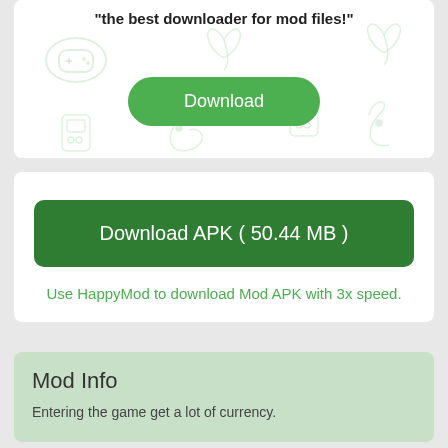[Figure (screenshot): White card with gaming icons and a green Download button, with quote text 'the best downloader for mod files!']
Download APK ( 50.44 MB )
Use HappyMod to download Mod APK with 3x speed.
Mod Info
Entering the game get a lot of currency.